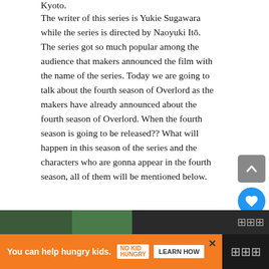Kyoto.
The writer of this series is Yukie Sugawara while the series is directed by Naoyuki Itō. The series got so much popular among the audience that makers announced the film with the name of the series. Today we are going to talk about the fourth season of Overlord as the makers have already announced about the fourth season of Overlord. When the fourth season is going to be released?? What will happen in this season of the series and the characters who are gonna appear in the fourth season, all of them will be mentioned below.
Overlord Season 4 Release Date
[Figure (infographic): Orange advertisement banner at bottom: 'You can help hungry kids.' with No Kid Hungry logo and LEARN HOW button. Close X button top right of banner.]